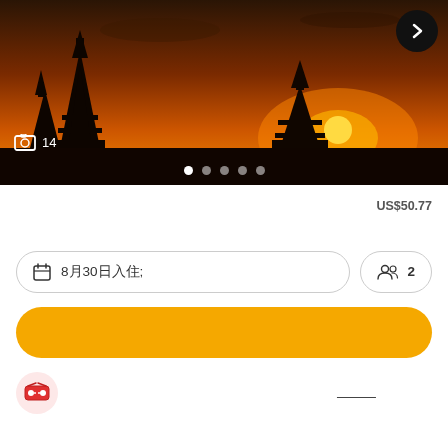[Figure (photo): Sunset silhouette of temple spires/pagodas against an orange sky with sun near horizon]
📷 14
ที่พัก  US$50.77 ราคาต่อคืน
8月30日入住
人数 2
立即预订
优惠券与促销 优惠减价活动 详情